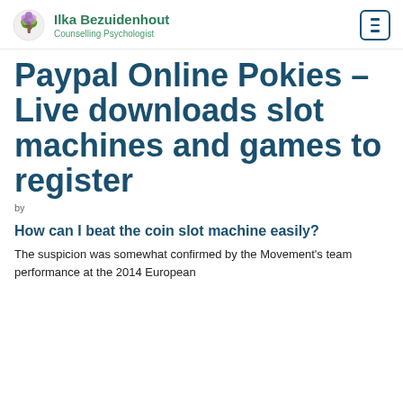Ilka Bezuidenhout – Counselling Psychologist
Paypal Online Pokies – Live downloads slot machines and games to register
by
How can I beat the coin slot machine easily?
The suspicion was somewhat confirmed by the Movement's team performance at the 2014 European